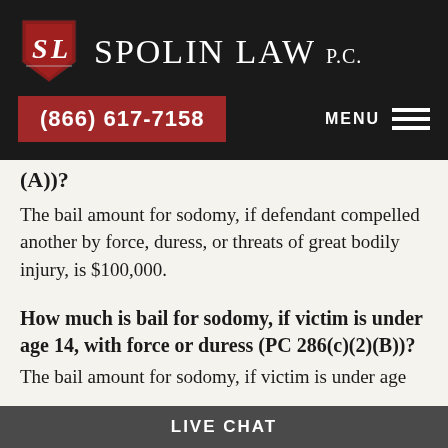[Figure (logo): Spolin Law P.C. shield logo with SL initials in red and white, firm name in white on dark background]
(866) 617-7158  MENU
(A))?
The bail amount for sodomy, if defendant compelled another by force, duress, or threats of great bodily injury, is $100,000.
How much is bail for sodomy, if victim is under age 14, with force or duress (PC 286(c)(2)(B))?
The bail amount for sodomy, if victim is under age
LIVE CHAT